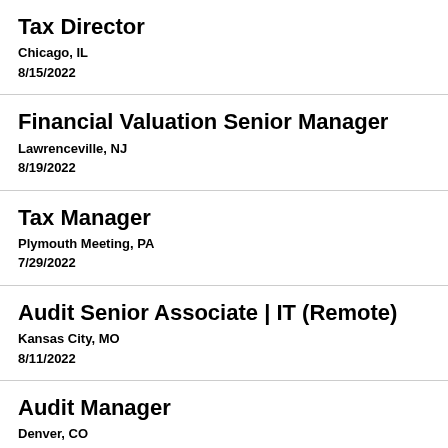Tax Director
Chicago, IL
8/15/2022
Financial Valuation Senior Manager
Lawrenceville, NJ
8/19/2022
Tax Manager
Plymouth Meeting, PA
7/29/2022
Audit Senior Associate | IT (Remote)
Kansas City, MO
8/11/2022
Audit Manager
Denver, CO
8/21/2022